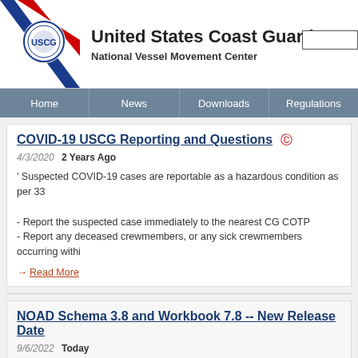United States Coast Guard — National Vessel Movement Center
Home | News | Downloads | Regulations
COVID-19 USCG Reporting and Questions
4/3/2020  2 Years Ago
' Suspected COVID-19 cases are reportable as a hazardous condition as per 33...
- Report the suspected case immediately to the nearest CG COTP
- Report any deceased crewmembers, or any sick crewmembers occurring withi...
Read More
NOAD Schema 3.8 and Workbook 7.8 -- New Release Date...
9/6/2022  Today
' As part of ongoing efforts to enhance maritime domain awareness, we continu... within Notices of Arrival and Departure (NOAD). Tentatively, on Thursday, 6 C...
Read More